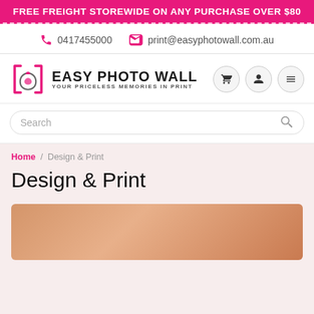FREE FREIGHT STOREWIDE ON ANY PURCHASE OVER $80
0417455000   print@easyphotowall.com.au
[Figure (logo): Easy Photo Wall logo with camera icon, text 'EASY PHOTO WALL' and tagline 'YOUR PRICELESS MEMORIES IN PRINT', plus cart, user, and menu icon buttons]
Search
Home / Design & Print
Design & Print
[Figure (photo): Partial product image showing a warm orange/tan colored print or canvas, blurred at bottom of page]